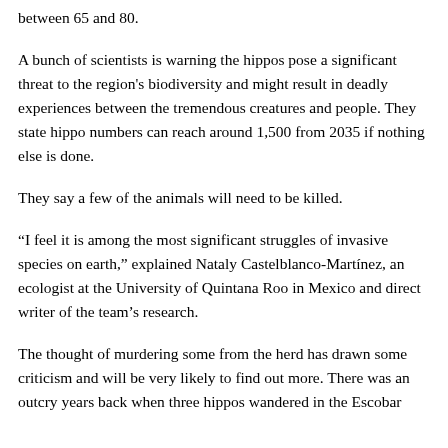between 65 and 80.
A bunch of scientists is warning the hippos pose a significant threat to the region's biodiversity and might result in deadly experiences between the tremendous creatures and people. They state hippo numbers can reach around 1,500 from 2035 if nothing else is done.
They say a few of the animals will need to be killed.
“I feel it is among the most significant struggles of invasive species on earth,” explained Nataly Castelblanco-Martínez, an ecologist at the University of Quintana Roo in Mexico and direct writer of the team’s research.
The thought of murdering some from the herd has drawn some criticism and will be very likely to find out more. There was an outcry years back when three hippos wandered in the Escobar